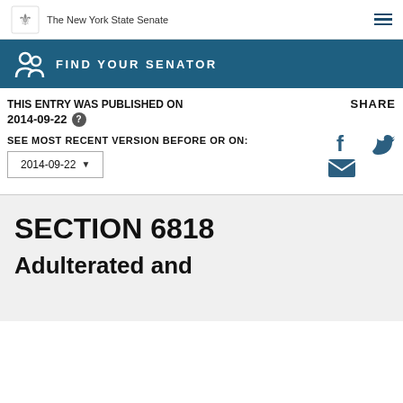The New York State Senate
[Figure (infographic): Blue banner with people icon and FIND YOUR SENATOR text]
THIS ENTRY WAS PUBLISHED ON 2014-09-22
SEE MOST RECENT VERSION BEFORE OR ON:
2014-09-22
SHARE
SECTION 6818
Adulterated and